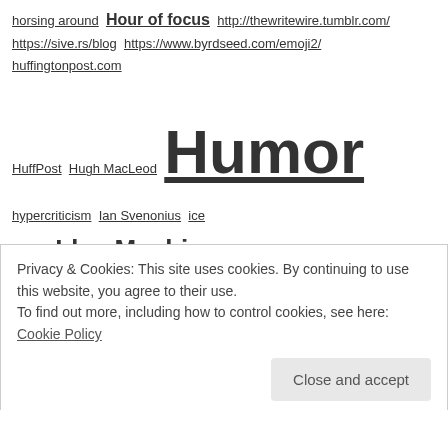horsing around Hour of focus http://thewritewire.tumblr.com/ https://sive.rs/blog https://www.byrdseed.com/emoji2/ huffingtonpost.com HuffPost Hugh MacLeod Humor hypercriticism Ian Svenonius ice cream Idea Machine ideas ideas for writers ideation If You Can Talk You Can Write image search imagination impostor syndrome impromptu photo story infants Ingrid Sundberg inner critic inner voice Inspiration inspiration for writers Inspiration Software inspiration to write Internet Scout Report interruptions inventwithwords.com Isaac Asimov I should be writing J.D. Barker J.K. Rowling J. Thorn jackals Jack Heffron Jacob Cass James
Privacy & Cookies: This site uses cookies. By continuing to use this website, you agree to their use. To find out more, including how to control cookies, see here: Cookie Policy | Close and accept